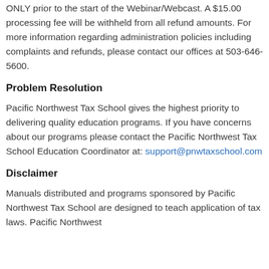ONLY prior to the start of the Webinar/Webcast. A $15.00 processing fee will be withheld from all refund amounts. For more information regarding administration policies including complaints and refunds, please contact our offices at 503-646-5600.
Problem Resolution
Pacific Northwest Tax School gives the highest priority to delivering quality education programs. If you have concerns about our programs please contact the Pacific Northwest Tax School Education Coordinator at: support@pnwtaxschool.com
Disclaimer
Manuals distributed and programs sponsored by Pacific Northwest Tax School are designed to teach application of tax laws. Pacific Northwest